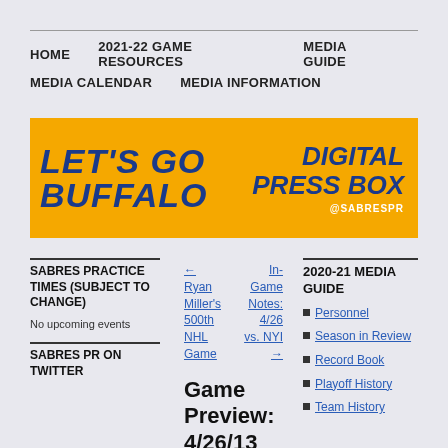HOME | 2021-22 GAME RESOURCES | MEDIA GUIDE | MEDIA CALENDAR | MEDIA INFORMATION
[Figure (illustration): Buffalo Sabres Digital Press Box banner — gold/yellow background with 'LETS GO BUFFALO' in blue italic text on the left and 'DIGITAL PRESS BOX @SABRESPR' in blue italic text on the right]
SABRES PRACTICE TIMES (SUBJECT TO CHANGE)
No upcoming events
SABRES PR ON TWITTER
← Ryan Miller's 500th NHL Game
In-Game Notes: 4/26 vs. NYI →
Game Preview: 4/26/13 vs. NYI
Posted on April 25, 2013 by Ian Ott | Leave a comment
GAME-DAY RESOURCES
Game | NHL | Press
2020-21 MEDIA GUIDE
Personnel
Season in Review
Record Book
Playoff History
Team History